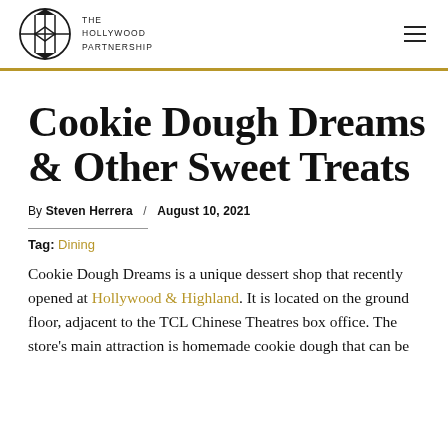THE HOLLYWOOD PARTNERSHIP
Cookie Dough Dreams & Other Sweet Treats
By Steven Herrera / August 10, 2021
Tag: Dining
Cookie Dough Dreams is a unique dessert shop that recently opened at Hollywood & Highland. It is located on the ground floor, adjacent to the TCL Chinese Theatres box office. The store's main attraction is homemade cookie dough that can be